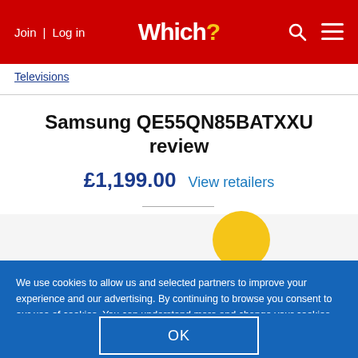Join | Log in   Which?
Televisions
Samsung QE55QN85BATXXU review
£1,199.00 View retailers
We use cookies to allow us and selected partners to improve your experience and our advertising. By continuing to browse you consent to our use of cookies. You can understand more and change your cookies preferences here.
OK